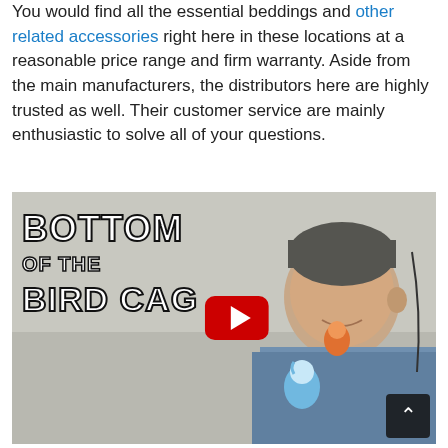You would find all the essential beddings and other related accessories right here in these locations at a reasonable price range and firm warranty. Aside from the main manufacturers, the distributors here are highly trusted as well. Their customer service are mainly enthusiastic to solve all of your questions.
[Figure (screenshot): YouTube video thumbnail showing a man with two birds (a blue budgie and an orange/red bird) on his shoulder. Text overlay reads 'BOTTOM OF THE BIRD CAGE' in bold white letters with black outline. A red YouTube play button is centered on the image.]